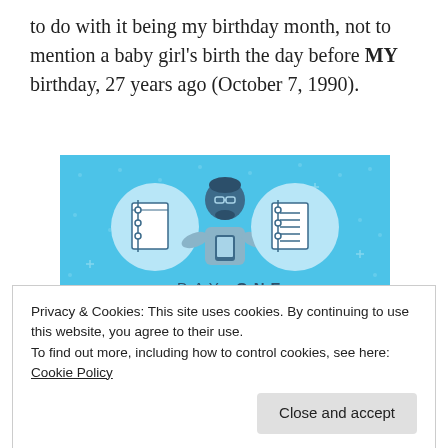to do with it being my birthday month, not to mention a baby girl's birth the day before MY birthday, 27 years ago (October 7, 1990).
[Figure (illustration): Day One journaling app promotional image with a blue background showing a cartoon figure holding a phone flanked by two circular icons with notebook images, text reading DAY ONE and 'The only journaling app you'll ever need.']
Privacy & Cookies: This site uses cookies. By continuing to use this website, you agree to their use.
To find out more, including how to control cookies, see here: Cookie Policy
want to share prayers through the Psalms that